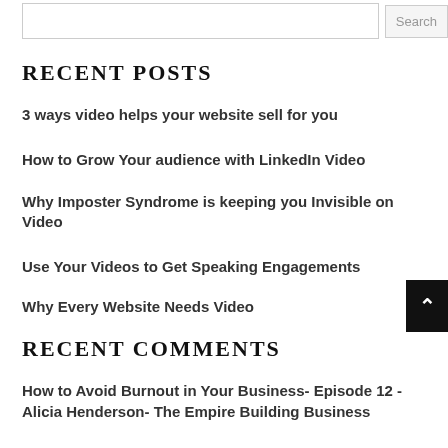RECENT POSTS
3 ways video helps your website sell for you
How to Grow Your audience with LinkedIn Video
Why Imposter Syndrome is keeping you Invisible on Video
Use Your Videos to Get Speaking Engagements
Why Every Website Needs Video
RECENT COMMENTS
How to Avoid Burnout in Your Business- Episode 12 - Alicia Henderson- The Empire Building Business